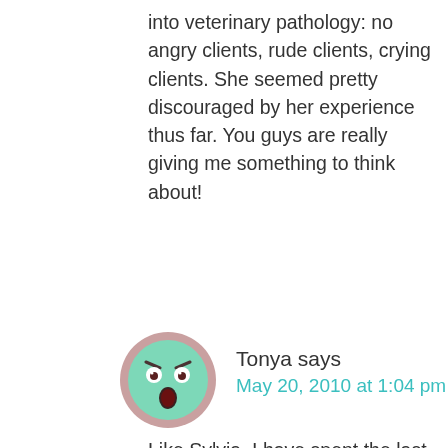into veterinary pathology: no angry clients, rude clients, crying clients. She seemed pretty discouraged by her experience thus far. You guys are really giving me something to think about!
[Figure (illustration): Round avatar icon showing a green smiley face with an angry/surprised expression, set against a pink/mauve circular background]
Tonya says
May 20, 2010 at 1:04 pm
Like Sylvia, I have spent the last few HOURS trying to think of what to say. All I can come up with is that you are EXACTLY the vet I would choose to care for my pets if you weren't so far away. I cannot imagine finding one better than you. I really do like my vet